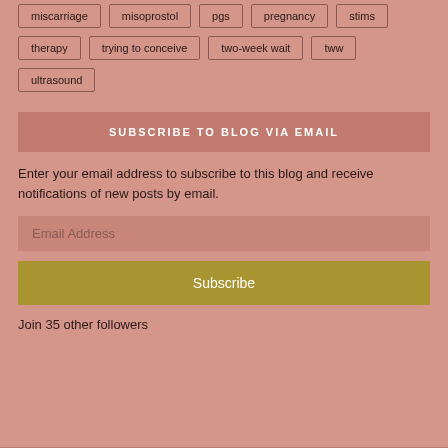miscarriage
misoprostol
pgs
pregnancy
stims
therapy
trying to conceive
two-week wait
tww
ultrasound
SUBSCRIBE TO BLOG VIA EMAIL
Enter your email address to subscribe to this blog and receive notifications of new posts by email.
Email Address
Subscribe
Join 35 other followers